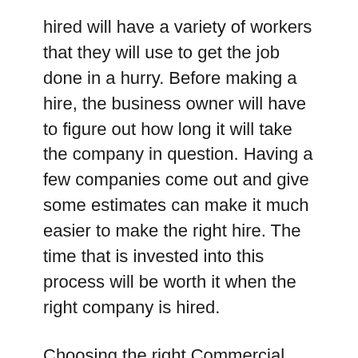hired will have a variety of workers that they will use to get the job done in a hurry. Before making a hire, the business owner will have to figure out how long it will take the company in question. Having a few companies come out and give some estimates can make it much easier to make the right hire. The time that is invested into this process will be worth it when the right company is hired.
Choosing the right Commercial Boiler Contractors in Colorado Springs will allow a business owner to get their repairs done the right way. Visit mycomfortbydesign.com when in the market for comprehensive repair solutions for a commercial boiler. They will be able to diagnose and fix the issues with a boiler in no time at all.